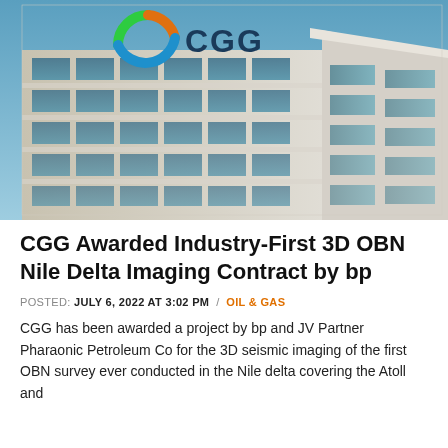[Figure (photo): Exterior photograph of a modern office building with the CGG logo (green, orange, and blue circular logo with 'CGG' text) mounted on the upper facade, against a blue sky. The building has a glass and concrete facade with a distinctive angular corner.]
CGG Awarded Industry-First 3D OBN Nile Delta Imaging Contract by bp
POSTED: JULY 6, 2022 AT 3:02 PM / OIL & GAS
CGG has been awarded a project by bp and JV Partner Pharaonic Petroleum Co for the 3D seismic imaging of the first OBN survey ever conducted in the Nile delta covering the Atoll and